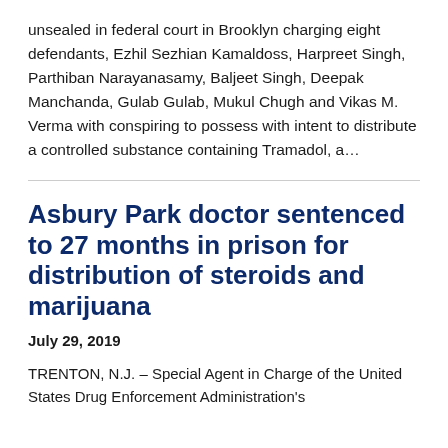unsealed in federal court in Brooklyn charging eight defendants, Ezhil Sezhian Kamaldoss, Harpreet Singh, Parthiban Narayanasamy, Baljeet Singh, Deepak Manchanda, Gulab Gulab, Mukul Chugh and Vikas M. Verma with conspiring to possess with intent to distribute a controlled substance containing Tramadol, a...
Asbury Park doctor sentenced to 27 months in prison for distribution of steroids and marijuana
July 29, 2019
TRENTON, N.J. – Special Agent in Charge of the United States Drug Enforcement Administration's